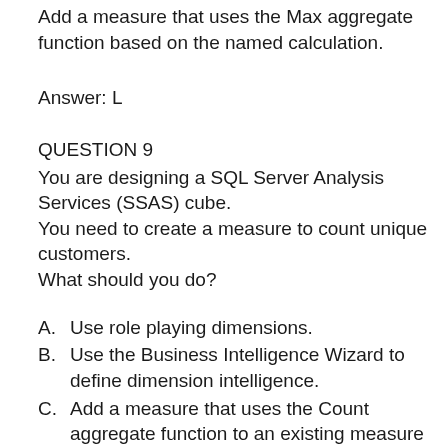Add a measure that uses the Max aggregate function based on the named calculation.
Answer: L
QUESTION 9
You are designing a SQL Server Analysis Services (SSAS) cube.
You need to create a measure to count unique customers.
What should you do?
A.    Use role playing dimensions.
B.    Use the Business Intelligence Wizard to define dimension intelligence.
C.    Add a measure that uses the Count aggregate function to an existing measure group.
D.    Add a measure that uses the DistinctCount aggregate function to an existing measure group.